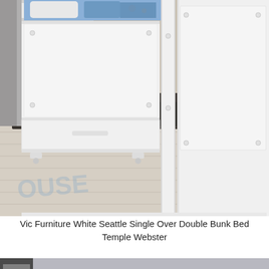[Figure (photo): Close-up photo of a white bunk bed frame showing the lower portion with storage drawers, wooden slat floor, and clean white paneling. Light wood laminate floor visible underneath. A faint watermark text visible on the floor.]
Vic Furniture White Seattle Single Over Double Bunk Bed Temple Webster
[Figure (photo): Photo of a white bunk bed in a children's bedroom with grey walls. The bed has a ladder on the right side, teal and navy blue bedding, and grey pillows. A dark-framed window or shelving unit is visible on the left side.]